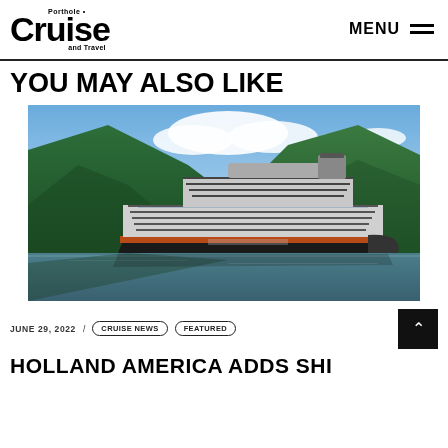Porthole Cruise and Travel — MENU
YOU MAY ALSO LIKE
[Figure (photo): A large cruise ship sailing through a Norwegian fjord surrounded by steep green mountains and blue sky with clouds. The ship appears to be a Holland America Line vessel.]
JUNE 29, 2022 / CRUISE NEWS FEATURED
HOLLAND AMERICA ADDS SHI...